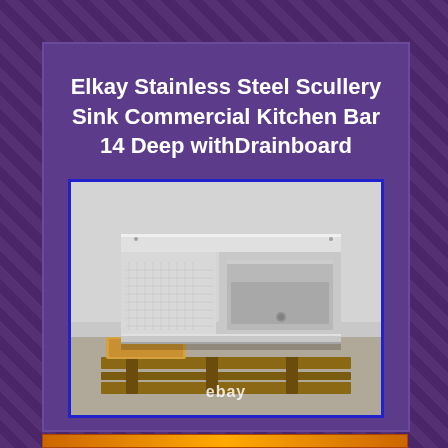Elkay Stainless Steel Scullery Sink Commercial Kitchen Bar 14 Deep withDrainboard
[Figure (photo): Photo of an Elkay stainless steel scullery sink with drainboard, placed on a wooden pallet. The sink has a large basin on the right and a flat drainboard on the left, with a tall backsplash. An eBay watermark is visible at the bottom center.]